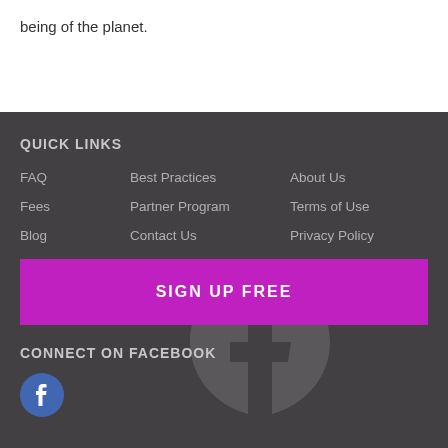being of the planet.
QUICK LINKS
FAQ
Best Practices
About Us
Fees
Partner Program
Terms of Use
Blog
Contact Us
Privacy Policy
SIGN UP FREE
CONNECT ON FACEBOOK
[Figure (logo): Facebook circular icon with white 'f' on blue background]